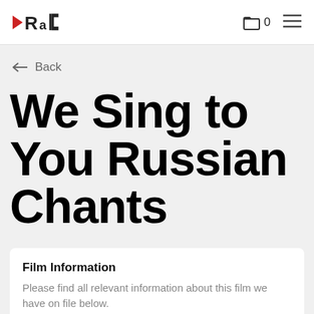RaD  0  ≡
← Back
We Sing to You Russian Chants
Film Information
Please find all relevant information about this film we have on file below.
Add to Your Selections